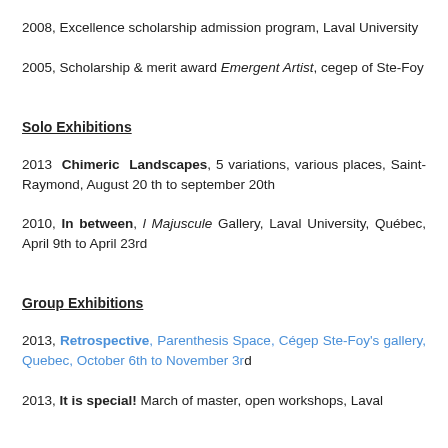2008, Excellence scholarship admission program, Laval University
2005, Scholarship & merit award Emergent Artist, cegep of Ste-Foy
Solo Exhibitions
2013  Chimeric Landscapes, 5 variations, various places, Saint-Raymond, August 20 th to september 20th
2010, In between, l Majuscule Gallery, Laval University, Québec, April 9th to April 23rd
Group Exhibitions
2013, Retrospective, Parenthesis Space, Cégep Ste-Foy's gallery, Quebec, October 6th to November 3rd
2013, It is special! March of master, open workshops, Laval